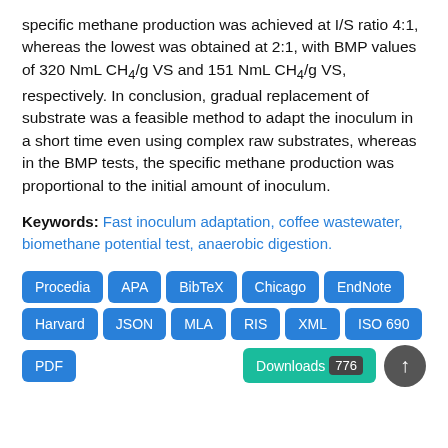specific methane production was achieved at I/S ratio 4:1, whereas the lowest was obtained at 2:1, with BMP values of 320 NmL CH4/g VS and 151 NmL CH4/g VS, respectively. In conclusion, gradual replacement of substrate was a feasible method to adapt the inoculum in a short time even using complex raw substrates, whereas in the BMP tests, the specific methane production was proportional to the initial amount of inoculum.
Keywords: Fast inoculum adaptation, coffee wastewater, biomethane potential test, anaerobic digestion.